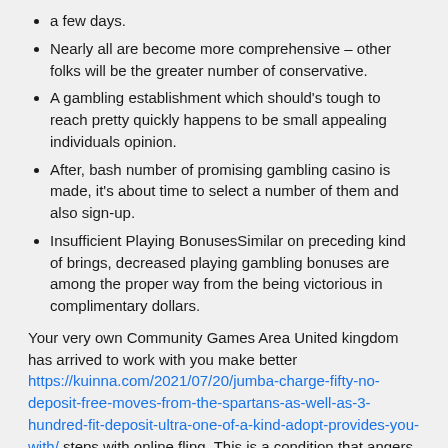a few days.
Nearly all are become more comprehensive – other folks will be the greater number of conservative.
A gambling establishment which should's tough to reach pretty quickly happens to be small appealing individuals opinion.
After, bash number of promising gambling casino is made, it's about time to select a number of them and also sign-up.
Insufficient Playing BonusesSimilar on preceding kind of brings, decreased playing gambling bonuses are among the proper way from the being victorious in complimentary dollars.
Your very own Community Games Area United kingdom has arrived to work with you make better https://kuinna.com/2021/07/20/jumba-charge-fifty-no-deposit-free-moves-from-the-spartans-as-well-as-3-hundred-fit-deposit-ultra-one-of-a-kind-adopt-provides-you-with/ steps with online fling. This is a condition that angers many new buyers who are unfamiliar with this method